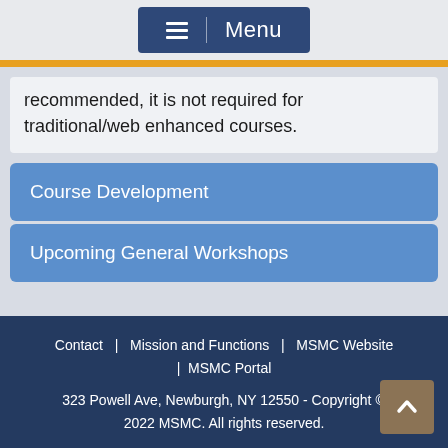[Figure (screenshot): Dark blue menu button with hamburger icon and 'Menu' text]
recommended, it is not required for traditional/web enhanced courses.
Course Development
Upcoming General Workshops
Contact | Mission and Functions | MSMC Website | MSMC Portal
323 Powell Ave, Newburgh, NY 12550 - Copyright © 2022 MSMC. All rights reserved.